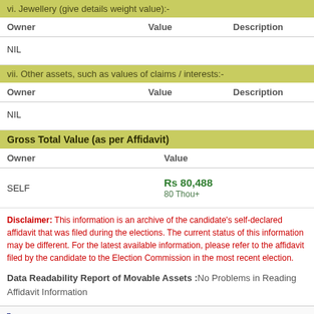vi. Jewellery (give details weight value):-
| Owner | Value | Description |
| --- | --- | --- |
| NIL |  |  |
vii. Other assets, such as values of claims / interests:-
| Owner | Value | Description |
| --- | --- | --- |
| NIL |  |  |
Gross Total Value (as per Affidavit)
| Owner | Value |
| --- | --- |
| SELF | Rs 80,488
80 Thou+ |
Disclaimer: This information is an archive of the candidate's self-declared affidavit that was filed during the elections. The current status of this information may be different. For the latest available information, please refer to the affidavit filed by the candidate to the Election Commission in the most recent election.
Data Readability Report of Movable Assets :No Problems in Reading Affidavit Information
Details of Immovable Assets